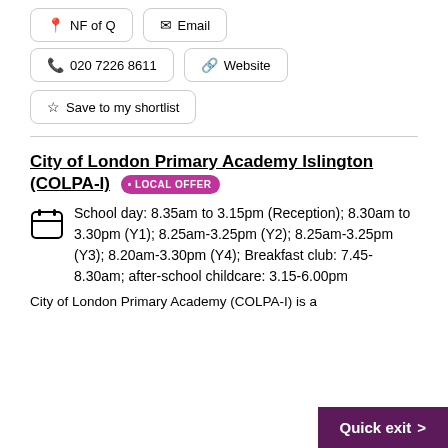NF of Q   Email
020 7226 8611   Website
Save to my shortlist
City of London Primary Academy Islington (COLPA-I) • LOCAL OFFER
School day: 8.35am to 3.15pm (Reception); 8.30am to 3.30pm (Y1); 8.25am-3.25pm (Y2); 8.25am-3.25pm (Y3); 8.20am-3.30pm (Y4); Breakfast club: 7.45-8.30am; after-school childcare: 3.15-6.00pm
City of London Primary Academy (COLPA-I) is a
Quick exit >